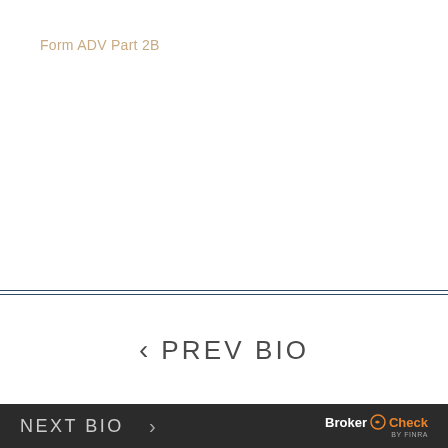Form ADV Part 2B
< PREV BIO
NEXT BIO > BrokerCheck FINRA